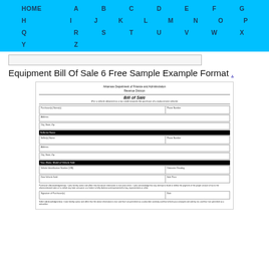HOME A B C D E F G H I J K L M N O P Q R S T U V W X Y Z
[Figure (screenshot): Thumbnail preview of the Equipment Bill of Sale document]
Equipment Bill Of Sale 6 Free Sample Example Format .
[Figure (screenshot): Arkansas Department of Finance and Administration Revenue Division Bill of Sale form preview showing purchaser and seller fields, vehicle information, VIN number, odometer reading, date vehicle sold, sale price, signatures, and certification text.]